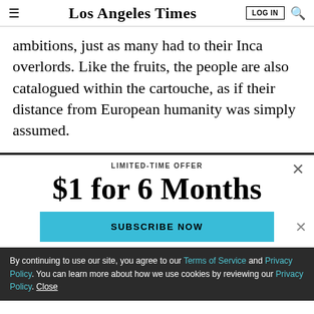Los Angeles Times
ambitions, just as many had to their Inca overlords. Like the fruits, the people are also catalogued within the cartouche, as if their distance from European humanity was simply assumed.
LIMITED-TIME OFFER
$1 for 6 Months
SUBSCRIBE NOW
By continuing to use our site, you agree to our Terms of Service and Privacy Policy. You can learn more about how we use cookies by reviewing our Privacy Policy. Close